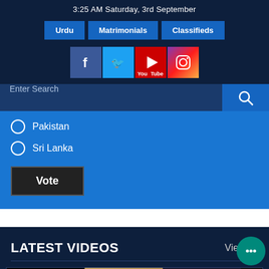3:25 AM Saturday, 3rd September
Urdu
Matrimonials
Classifieds
[Figure (infographic): Social media icons: Facebook, Twitter, YouTube, Instagram]
Enter Search
Pakistan
Sri Lanka
Vote
LATEST VIDEOS
View All
[Figure (screenshot): Video thumbnails strip showing three video previews]